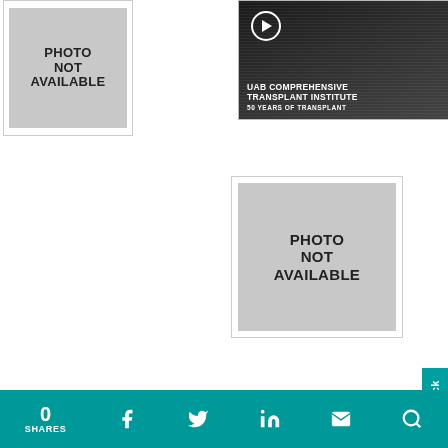[Figure (photo): Photo not available placeholder, top left]
[Figure (photo): UAB Comprehensive Transplant Institute video thumbnail with play button, text: UAB COMPREHENSIVE TRANSPLANT INSTITUTE, 50 YEARS OF TRANSPLANT]
[Figure (photo): Photo not available placeholder, middle right]
[Figure (photo): Photo not available placeholder, bottom left (partially visible)]
0 SHARES
0 SHARES | Facebook | Twitter | LinkedIn | Email | Search | Feedback